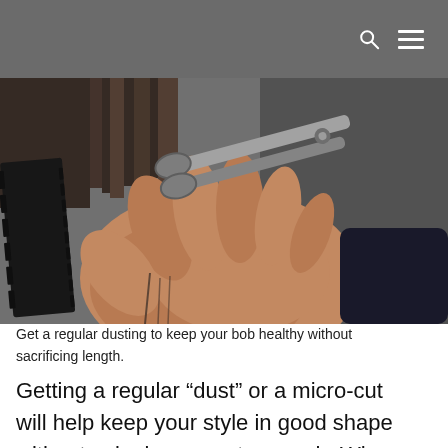[Figure (photo): Close-up photo of a hairstylist's hands holding a black comb and scissors, cutting a section of straight brown hair against a blurred grey background.]
Get a regular dusting to keep your bob healthy without sacrificing length.
Getting a regular “dust” or a micro-cut will help keep your style in good shape without snipping away too much. When hair dusting, the stylist will